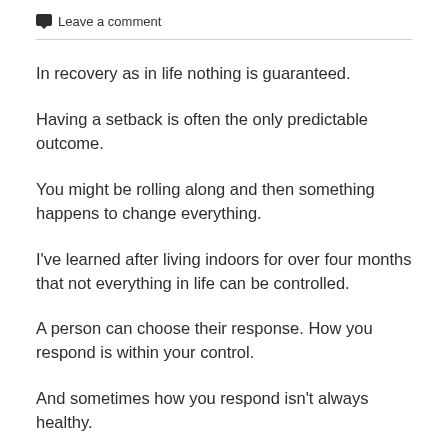Leave a comment
In recovery as in life nothing is guaranteed.
Having a setback is often the only predictable outcome.
You might be rolling along and then something happens to change everything.
I've learned after living indoors for over four months that not everything in life can be controlled.
A person can choose their response. How you respond is within your control.
And sometimes how you respond isn't always healthy.